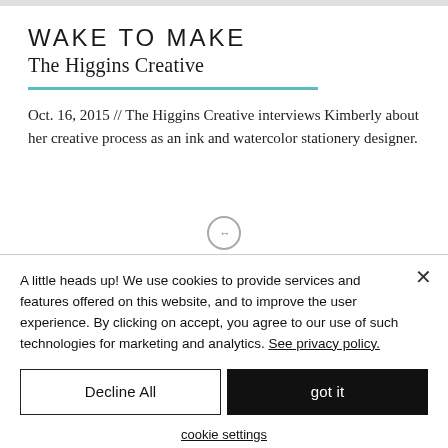WAKE TO MAKE
The Higgins Creative
Oct. 16, 2015 // The Higgins Creative interviews Kimberly about her creative process as an ink and watercolor stationery designer.
A little heads up! We use cookies to provide services and features offered on this website, and to improve the user experience. By clicking on accept, you agree to our use of such technologies for marketing and analytics. See privacy policy.
Decline All
got it
cookie settings